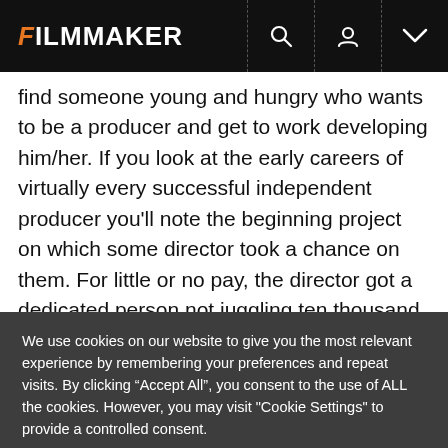FILMMAKER
find someone young and hungry who wants to be a producer and get to work developing him/her. If you look at the early careers of virtually every successful independent producer you'll note the beginning project on which some director took a chance on them. For little or no pay, the director got a dedicated person not juggling ten thousand other projects — someone excited to be making a movie. Don't just to look to the established people; find the up-and-comers. (Alternately, look to
We use cookies on our website to give you the most relevant experience by remembering your preferences and repeat visits. By clicking "Accept All", you consent to the use of ALL the cookies. However, you may visit "Cookie Settings" to provide a controlled consent.
Cookie Settings | Accept All